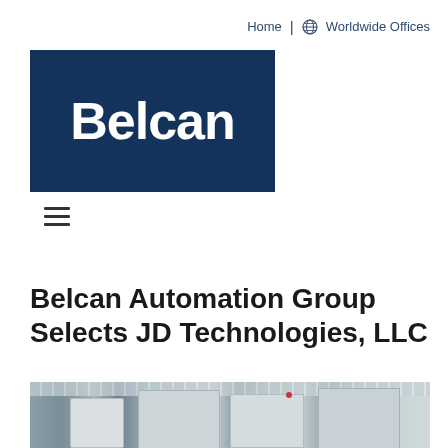Home | Worldwide Offices
[Figure (logo): Belcan logo — white bold text 'Belcan' on dark navy blue background]
[Figure (other): Hamburger menu icon (three horizontal lines)]
Belcan Automation Group Selects JD Technologies, LLC
[Figure (photo): Factory floor showing industrial automation equipment, machinery and overhead lighting]